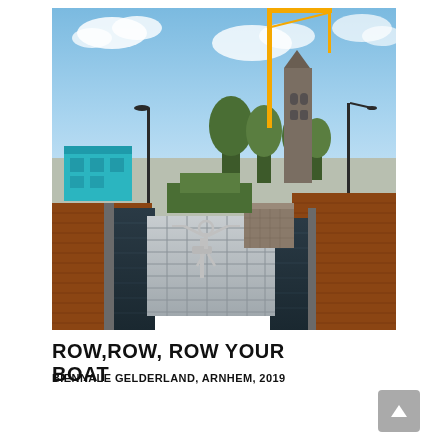[Figure (photo): Outdoor urban scene in Arnhem showing a metal sculpture of a rower on a floating platform in a rectangular water basin. Behind it are construction elements including a yellow crane and a church tower, along with trees, brick paving, a turquoise modular building, and a street lamp. Blue sky with clouds in background.]
ROW,ROW, ROW YOUR BOAT
BIENNALE GELDERLAND, ARNHEM, 2019